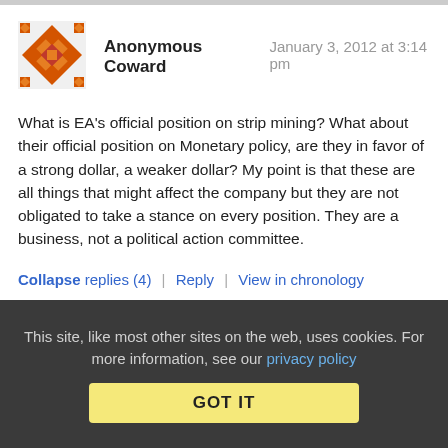[Figure (illustration): Orange decorative avatar icon with geometric snowflake-like pattern]
Anonymous Coward   January 3, 2012 at 3:14 pm
What is EA's official position on strip mining? What about their official position on Monetary policy, are they in favor of a strong dollar, a weaker dollar? My point is that these are all things that might affect the company but they are not obligated to take a stance on every position. They are a business, not a political action committee.
Collapse replies (4) | Reply | View in chronology
This site, like most other sites on the web, uses cookies. For more information, see our privacy policy GOT IT